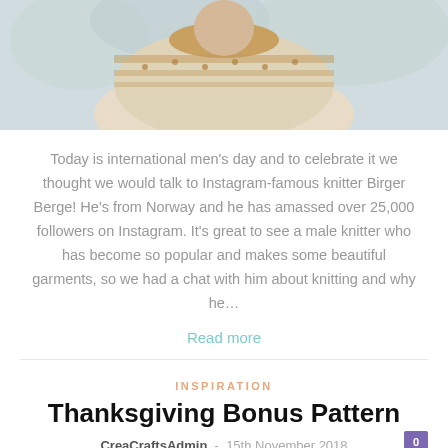[Figure (photo): Photo of a person wearing a Norwegian-style fair isle knit sweater with gold and cream pattern, photographed outdoors]
Today is international men's day and to celebrate it we thought we would talk to Instagram-famous knitter Birger Berge! He's from Norway and he has amassed over 25,000 followers on Instagram. It's great to see a male knitter who has become so popular and makes some beautiful garments, so we had a chat with him about knitting and why he…
Read more
INSPIRATION
Thanksgiving Bonus Pattern
CreaCraftsAdmin  -  15th November 2018